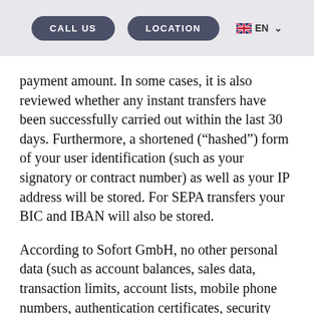CALL US | LOCATION | EN
payment amount. In some cases, it is also reviewed whether any instant transfers have been successfully carried out within the last 30 days. Furthermore, a shortened (“hashed”) form of your user identification (such as your signatory or contract number) as well as your IP address will be stored. For SEPA transfers your BIC and IBAN will also be stored.
According to Sofort GmbH, no other personal data (such as account balances, sales data, transaction limits, account lists, mobile phone numbers, authentication certificates, security